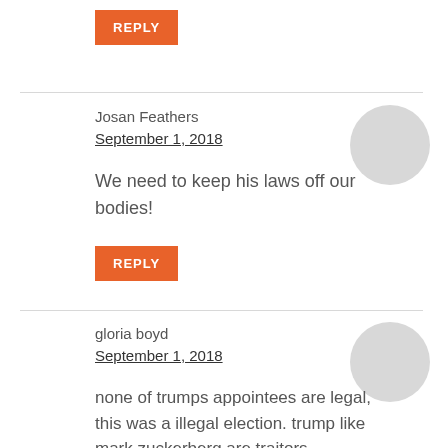[Figure (other): Orange REPLY button at top]
Josan Feathers
September 1, 2018
We need to keep his laws off our bodies!
[Figure (other): Orange REPLY button]
gloria boyd
September 1, 2018
none of trumps appointees are legal, this was a illegal election. trump like mark zuckerberg are traitors.